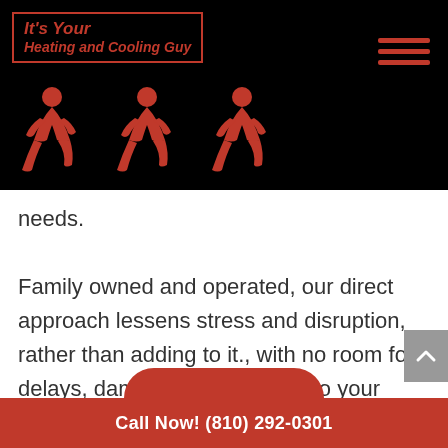It's Your Heating and Cooling Guy
needs.
Family owned and operated, our direct approach lessens stress and disruption, rather than adding to it., with no room for delays, damage, or disruption to your home. With ease-of-scheduling, you can count on our technician, uniformed professionals for prompt response and punctual arrival. Fully prepared for even the toughest malfunction, our team
Call Now! (810) 292-0301